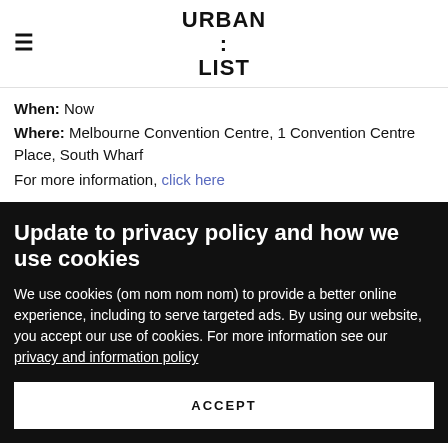URBAN LIST
When: Now
Where: Melbourne Convention Centre, 1 Convention Centre Place, South Wharf
For more information, click here
Update to privacy policy and how we use cookies
We use cookies (om nom nom nom) to provide a better online experience, including to serve targeted ads. By using our website, you accept our use of cookies. For more information see our privacy and information policy
ACCEPT